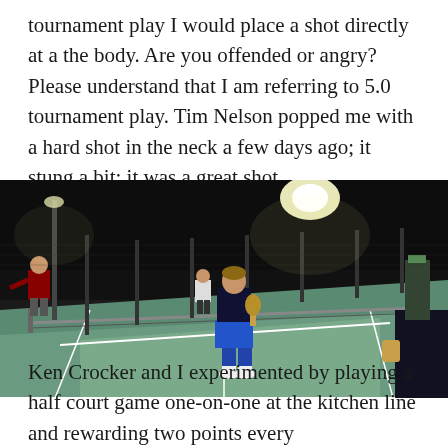tournament play I would place a shot directly at a the body. Are you offended or angry? Please understand that I am referring to 5.0 tournament play. Tim Nelson popped me with a hard shot in the neck a few days ago; it stung a bit; it was a great shot.
[Figure (photo): Night-time outdoor pickleball or tennis court scene. A player in blue shorts and dark shirt stands in the foreground center, holding a paddle. Another player in red shirt is visible on the far left side of the court. The court has a green playing surface with white lines and a net. Court lighting illuminates the scene. A person in dark clothing is partially visible on the far right edge.]
Ken Crocker and I experimented by playing a half court game one-on-one at the kitchen line and rewarding two points every